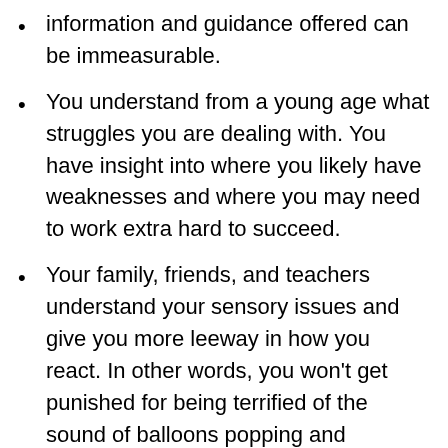information and guidance offered can be immeasurable.
You understand from a young age what struggles you are dealing with. You have insight into where you likely have weaknesses and where you may need to work extra hard to succeed.
Your family, friends, and teachers understand your sensory issues and give you more leeway in how you react. In other words, you won't get punished for being terrified of the sound of balloons popping and overreacting by yelling and crying, like I did in 4th grade 🙁
A diagnosis of aspergers or high-functioning autism allows you to understand why you